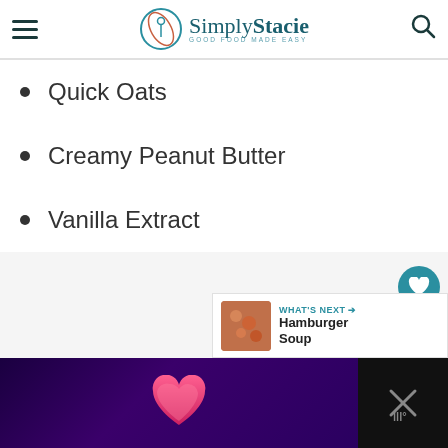Simply Stacie — GOOD FOOD MADE EASY
Quick Oats
Creamy Peanut Butter
Vanilla Extract
[Figure (screenshot): Website UI with floating heart/share buttons (661 saves) and a 'WHAT'S NEXT → Hamburger Soup' recommendation bar]
[Figure (screenshot): Bottom advertisement banner with pink heart on dark purple/black background]